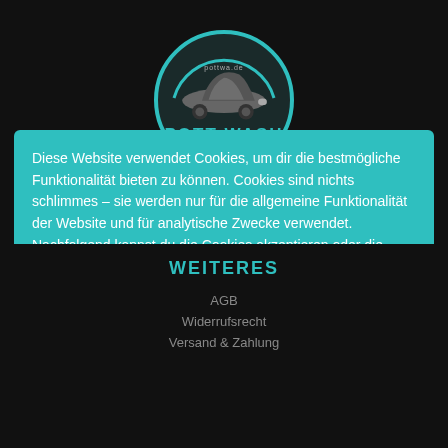[Figure (logo): Pott Wash circular logo with car silhouette and teal/dark color scheme]
Diese Website verwendet Cookies, um dir die bestmögliche Funktionalität bieten zu können. Cookies sind nichts schlimmes – sie werden nur für die allgemeine Funktionalität der Website und für analytische Zwecke verwendet. Nachfolgend kannst du die Cookies akzeptieren oder die jeweiligen Einstellungen für dich vornehmen.
Cookie Einstellungen
Ablehnen
Alle akzeptieren
WEITERES
AGB
Widerrufsrecht
Versand & Zahlung